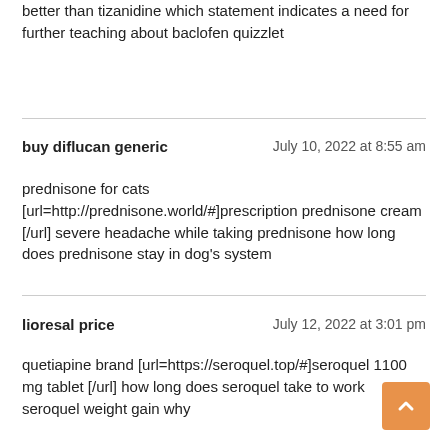better than tizanidine which statement indicates a need for further teaching about baclofen quizzlet
buy diflucan generic
July 10, 2022 at 8:55 am
prednisone for cats [url=http://prednisone.world/#]prescription prednisone cream [/url] severe headache while taking prednisone how long does prednisone stay in dog's system
lioresal price
July 12, 2022 at 3:01 pm
quetiapine brand [url=https://seroquel.top/#]seroquel 1100 mg tablet [/url] how long does seroquel take to work seroquel weight gain why